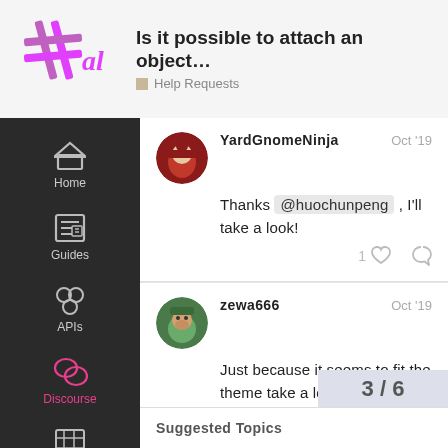Is it possible to attach an object... | Help Requests
[Figure (logo): Al (Anime League / AL) logo with pink/purple hash symbol and 'al' text]
YardGnomeNinja  Oct '19
Thanks @huochunpeng , I'll take a look!
zewa666  Oct '19
Just because it seems to fit the theme take a look at https://github.com/daybrush/moveable
3 / 6
Suggested Topics